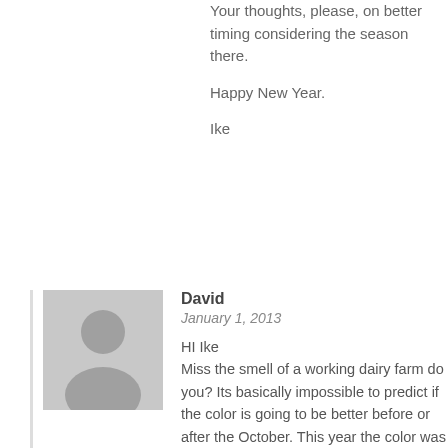Your thoughts, please, on better timing considering the season there.
Happy New Year.
Ike
[Figure (illustration): Generic gray avatar silhouette image for user David]
David
January 1, 2013
HI Ike
Miss the smell of a working dairy farm do you? Its basically impossible to predict if the color is going to be better before or after the October. This year the color was better in very early october and then declined but that is unusual. If you lingered afterward you could go and really work your favorite places we visited in the workshop. The odds are that the color will be okay before the workshop, great during the workshop and good after the workshop. In actuality, you really con't go wrong.
Glad I could be so unhelpful!
Happy New Year to you too, Ike